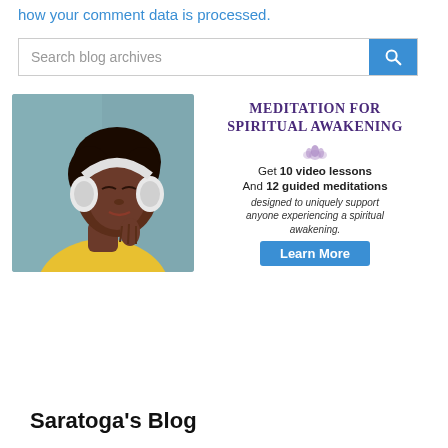how your comment data is processed.
[Figure (screenshot): Search blog archives input field with blue search button icon]
[Figure (infographic): Meditation for Spiritual Awakening ad featuring a woman with headphones on the left and text on the right: title 'Meditation for Spiritual Awakening', lotus icon, 'Get 10 video lessons', 'And 12 guided meditations', 'designed to uniquely support anyone experiencing a spiritual awakening.', and a 'Learn More' blue button]
Saratoga's Blog